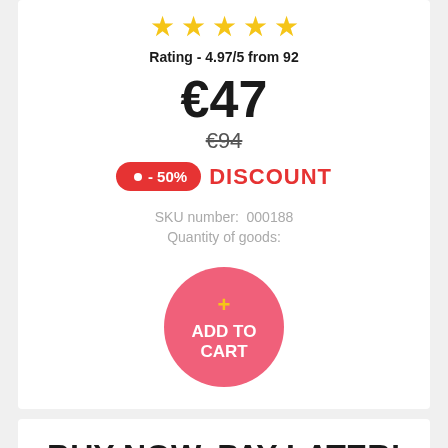[Figure (other): Five gold star rating icons]
Rating - 4.97/5 from 92
€47
€94
- 50%  DISCOUNT
SKU number:  000188
Quantity of goods:
+ ADD TO CART
BUY NOW, PAY LATER!
The seller will call you back to discuss the terms of delivery and payment.